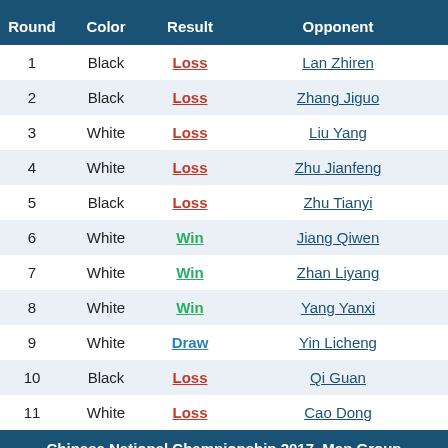| Round | Color | Result | Opponent |  |
| --- | --- | --- | --- | --- |
| 1 | Black | Loss | Lan Zhiren | 2586. |
| 2 | Black | Loss | Zhang Jiguo | 2328. |
| 3 | White | Loss | Liu Yang | 2585. |
| 4 | White | Loss | Zhu Jianfeng | 2751. |
| 5 | Black | Loss | Zhu Tianyi | 2412. |
| 6 | White | Win | Jiang Qiwen | 2590. |
| 7 | White | Win | Zhan Liyang | 2041. |
| 8 | White | Win | Yang Yanxi | 2732. |
| 9 | White | Draw | Yin Licheng | 2419. |
| 10 | Black | Loss | Qi Guan | 2750. |
| 11 | White | Loss | Cao Dong | 2697. |
Chinese National Championship 2017, Men Group